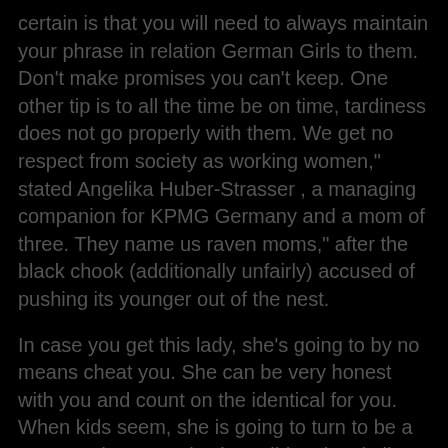certain is that you will need to always maintain your phrase in relation German Girls to them. Don't make promises you can't keep. One other tip is to all the time be on time, tardiness does not go properly with them. We get no respect from society as working women," stated Angelika Huber-Strasser , a managing companion for KPMG Germany and a mom of three. They name us raven moms," after the black chook (additionally unfairly) accused of pushing its younger out of the nest.
In case you get this lady, she's going to by no means cheat you. She can be very honest with you and count on the identical for you. When kids seem, she is going to turn to be a very good mum, strict, but mild at the similar time. Kids of German ladies German Women are disciplined and correct individuals. They know easy methods to behave when being amongst strangers, and they will not really feel confused is one thing extraordinary happens. German